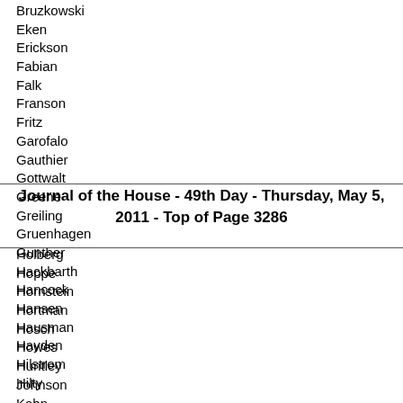Bruzkowski
Eken
Erickson
Fabian
Falk
Franson
Fritz
Garofalo
Gauthier
Gottwalt
Greene
Greiling
Gruenhagen
Gunther
Hackbarth
Hancock
Hansen
Hausman
Hayden
Hilstrom
Hilty
Journal of the House - 49th Day - Thursday, May 5, 2011 - Top of Page 3286
Holberg
Hoppe
Hornstein
Hortman
Hosch
Howes
Huntley
Johnson
Kahn
Kath
Kelly
Kieffer